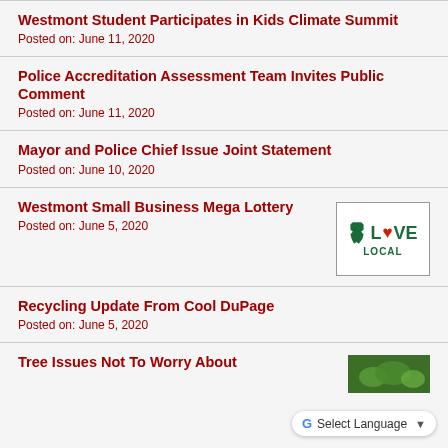Westmont Student Participates in Kids Climate Summit
Posted on: June 11, 2020
Police Accreditation Assessment Team Invites Public Comment
Posted on: June 11, 2020
Mayor and Police Chief Issue Joint Statement
Posted on: June 10, 2020
Westmont Small Business Mega Lottery
Posted on: June 5, 2020
[Figure (logo): ILove Local logo with Illinois state shape in green]
Recycling Update From Cool DuPage
Posted on: June 5, 2020
Tree Issues Not To Worry About
[Figure (photo): Green leaves photo thumbnail]
Select Language